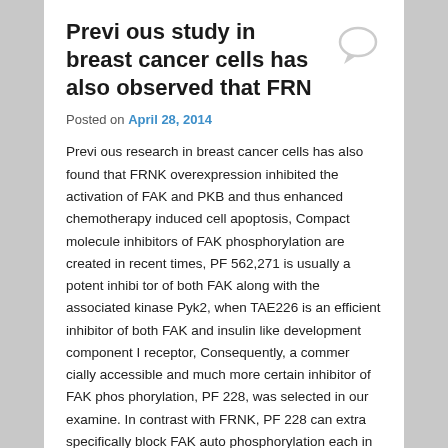Previ ous study in breast cancer cells has also observed that FRN
Posted on April 28, 2014
Previ ous research in breast cancer cells has also found that FRNK overexpression inhibited the activation of FAK and PKB and thus enhanced chemotherapy induced cell apoptosis, Compact molecule inhibitors of FAK phosphorylation are created in recent times, PF 562,271 is usually a potent inhibi tor of both FAK along with the associated kinase Pyk2, when TAE226 is an efficient inhibitor of both FAK and insulin like development component I receptor, Consequently, a commer cially accessible and much more certain inhibitor of FAK phos phorylation, PF 228, was selected in our examine. In contrast with FRNK, PF 228 can extra specifically block FAK auto phosphorylation each in standard and tumor cells from the inhibition of activation FAK